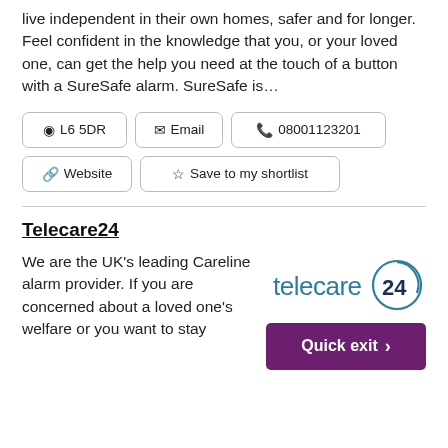live independent in their own homes, safer and for longer. Feel confident in the knowledge that you, or your loved one, can get the help you need at the touch of a button with a SureSafe alarm. SureSafe is...
📍 L6 5DR
✉ Email
📞 08001123201
🔗 Website
☆ Save to my shortlist
Telecare24
We are the UK's leading Careline alarm provider. If you are concerned about a loved one's welfare or you want to stay
[Figure (logo): Telecare24 logo: text 'telecare' in teal/blue followed by '24' inside a circle with a curved arc]
[Figure (other): Purple 'Quick exit >' button]